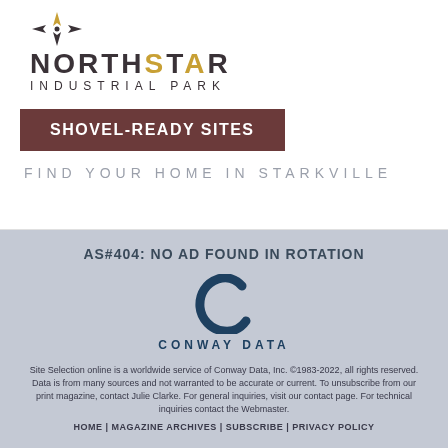[Figure (logo): NorthStar Industrial Park logo with compass-star icon above the text NORTHSTAR in large dark letters with a gold star letter, and INDUSTRIAL PARK in spaced capitals below]
SHOVEL-READY SITES
FIND YOUR HOME IN STARKVILLE
AS#404: NO AD FOUND IN ROTATION
[Figure (logo): Conway Data logo: large stylized letter C in dark teal/navy, with CONWAY DATA text below in spaced capitals]
Site Selection online is a worldwide service of Conway Data, Inc. ©1983-2022, all rights reserved. Data is from many sources and not warranted to be accurate or current. To unsubscribe from our print magazine, contact Julie Clarke. For general inquiries, visit our contact page. For technical inquiries contact the Webmaster.
HOME | MAGAZINE ARCHIVES | SUBSCRIBE | PRIVACY POLICY